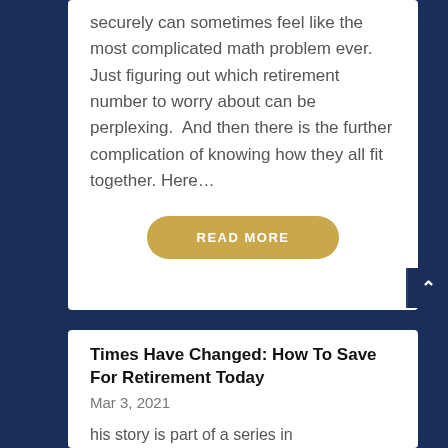securely can sometimes feel like the most complicated math problem ever.  Just figuring out which retirement number to worry about can be perplexing.  And then there is the further complication of knowing how they all fit together. Here…
READ MORE
Times Have Changed: How To Save For Retirement Today
Mar 3, 2021
his story is part of a series in